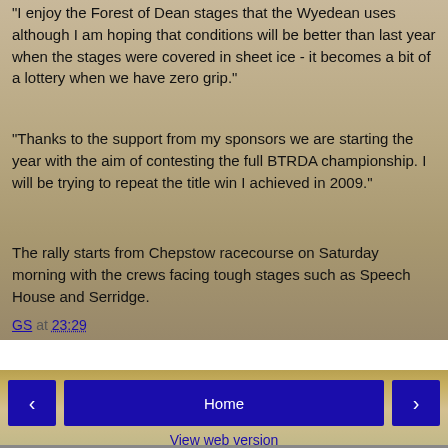"I enjoy the Forest of Dean stages that the Wyedean uses although I am hoping that conditions will be better than last year when the stages were covered in sheet ice - it becomes a bit of a lottery when we have zero grip."
"Thanks to the support from my sponsors we are starting the year with the aim of contesting the full BTRDA championship. I will be trying to repeat the title win I achieved in 2009."
The rally starts from Chepstow racecourse on Saturday morning with the crews facing tough stages such as Speech House and Serridge.
GS at 23:29
Share
Home
View web version